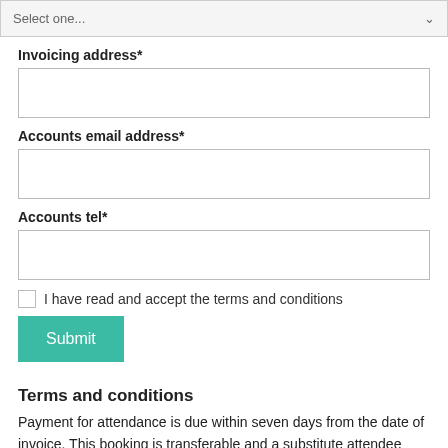Select one...
Invoicing address*
Accounts email address*
Accounts tel*
I have read and accept the terms and conditions
Submit
Terms and conditions
Payment for attendance is due within seven days from the date of invoice. This booking is transferable and a substitute attendee may attend on your behalf at no additional cost if you cannot attend. Cancellation of a booking must be received by CMG in writing, no